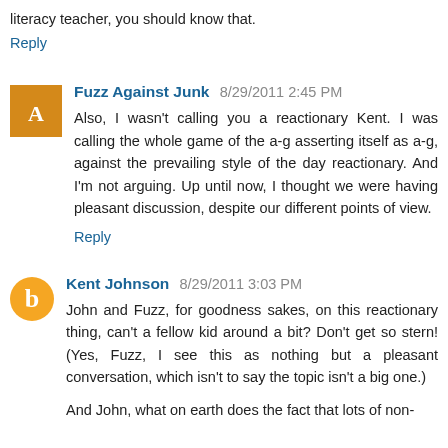literacy teacher, you should know that.
Reply
Fuzz Against Junk  8/29/2011 2:45 PM
Also, I wasn't calling you a reactionary Kent. I was calling the whole game of the a-g asserting itself as a-g, against the prevailing style of the day reactionary. And I'm not arguing. Up until now, I thought we were having pleasant discussion, despite our different points of view.
Reply
Kent Johnson  8/29/2011 3:03 PM
John and Fuzz, for goodness sakes, on this reactionary thing, can't a fellow kid around a bit? Don't get so stern! (Yes, Fuzz, I see this as nothing but a pleasant conversation, which isn't to say the topic isn't a big one.)
And John, what on earth does the fact that lots of non-